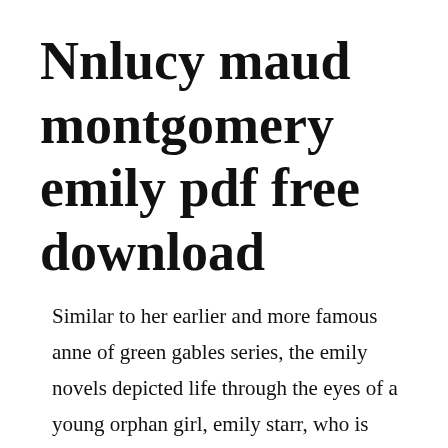Nnlucy maud montgomery emily pdf free download
Similar to her earlier and more famous anne of green gables series, the emily novels depicted life through the eyes of a young orphan girl, emily starr, who is raised by her relatives after her father. It includes many of